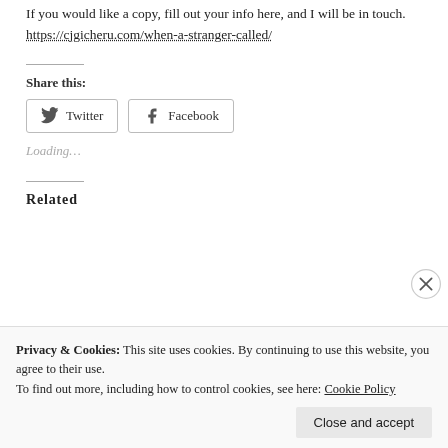If you would like a copy, fill out your info here, and I will be in touch. https://cjgicheru.com/when-a-stranger-called/
Share this:
Twitter  Facebook
Loading...
Related
Privacy & Cookies: This site uses cookies. By continuing to use this website, you agree to their use.
To find out more, including how to control cookies, see here: Cookie Policy
Close and accept